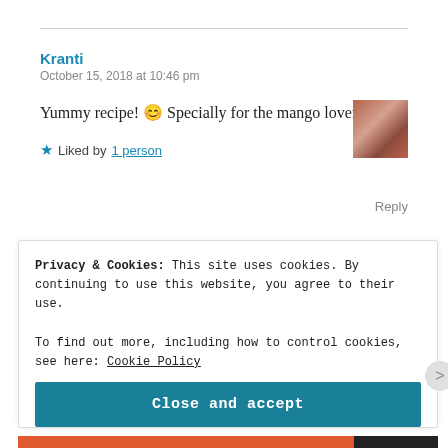Kranti
October 15, 2018 at 10:46 pm
Yummy recipe! 😊 Specially for the mango lovers!! 😊
★ Liked by 1 person
Reply
Privacy & Cookies: This site uses cookies. By continuing to use this website, you agree to their use.
To find out more, including how to control cookies, see here: Cookie Policy
Close and accept